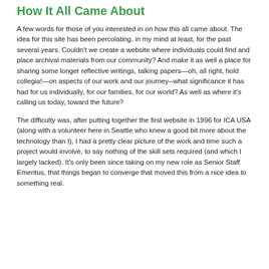How It All Came About
A few words for those of you interested in on how this all came about. The idea for this site has been percolating, in my mind at least, for the past several years. Couldn't we create a website where individuals could find and place archival materials from our community? And make it as well a place for sharing some longer reflective writings, talking papers—oh, all right, hold collegia!—on aspects of our work and our journey--what significance it has had for us individually, for our families, for our world? As well as where it's calling us today, toward the future?
The difficulty was, after putting together the first website in 1996 for ICA USA (along with a volunteer here in Seattle who knew a good bit more about the technology than I), I had a pretty clear picture of the work and time such a project would involve, to say nothing of the skill sets required (and which I largely lacked). It's only been since taking on my new role as Senior Staff Emeritus, that things began to converge that moved this from a nice idea to something real.